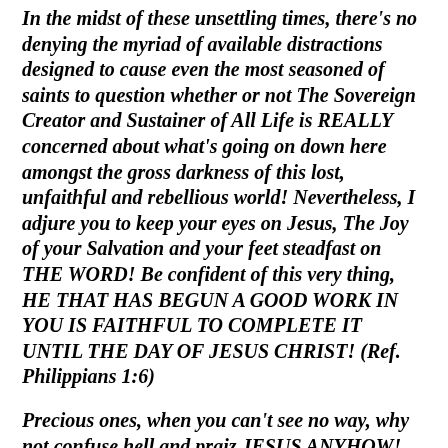In the midst of these unsettling times, there's no denying the myriad of available distractions designed to cause even the most seasoned of saints to question whether or not The Sovereign Creator and Sustainer of All Life is REALLY concerned about what's going on down here amongst the gross darkness of this lost, unfaithful and rebellious world! Nevertheless, I adjure you to keep your eyes on Jesus, The Joy of your Salvation and your feet steadfast on THE WORD! Be confident of this very thing, HE THAT HAS BEGUN A GOOD WORK IN YOU IS FAITHFUL TO COMPLETE IT UNTIL THE DAY OF JESUS CHRIST! (Ref. Philippians 1:6)
Precious ones, when you can't see no way, why not confuse hell and praiz JESUS ANYHOW! Don'tchaknow? At the